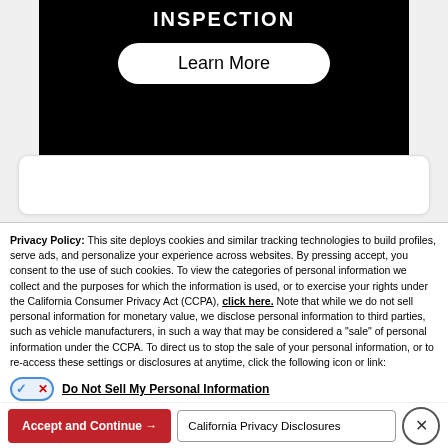INSPECTION
[Figure (screenshot): Black banner with 'INSPECTION' title and a white 'Learn More' button with rounded corners]
Privacy Policy: This site deploys cookies and similar tracking technologies to build profiles, serve ads, and personalize your experience across websites. By pressing accept, you consent to the use of such cookies. To view the categories of personal information we collect and the purposes for which the information is used, or to exercise your rights under the California Consumer Privacy Act (CCPA), click here. Note that while we do not sell personal information for monetary value, we disclose personal information to third parties, such as vehicle manufacturers, in such a way that may be considered a "sale" of personal information under the CCPA. To direct us to stop the sale of your personal information, or to re-access these settings or disclosures at anytime, click the following icon or link:
Do Not Sell My Personal Information
Language: English  ∨  Powered by ComplyAuto